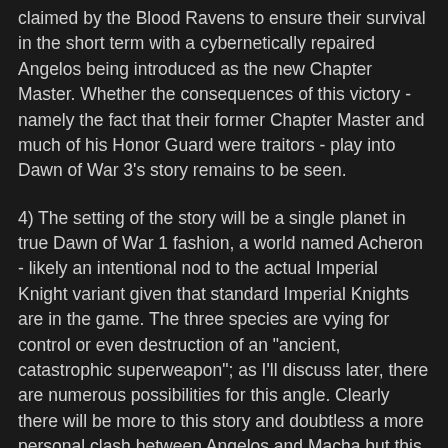claimed by the Blood Ravens to ensure their survival in the short term with a cybernetically repaired Angelos being introduced as the new Chapter Master. Whether the consequences of this victory - namely the fact that their former Chapter Master and much of his Honor Guard were traitors - play into Dawn of War 3's story remains to be seen.
4) The setting of the story will be a single planet in true Dawn of War 1 fashion, a world named Acheron - likely an intentional nod to the actual Imperial Knight variant given that standard Imperial Knights are in the game. The three species are vying for control or even destruction of an "ancient, catastrophic superweapon"; as I'll discuss later, there are numerous possibilities for this angle. Clearly there will be more to this story and doubtless a more personal clash between Angelos and Macha but this is all we know for now.
5) The CGI trailer for Dawn of War 3 is the only one made for the series that is patently abstract in nature as the others have all depicted gritty and realistic skirmishes. Whether this is purely for entertainment purposes or it has some deeper